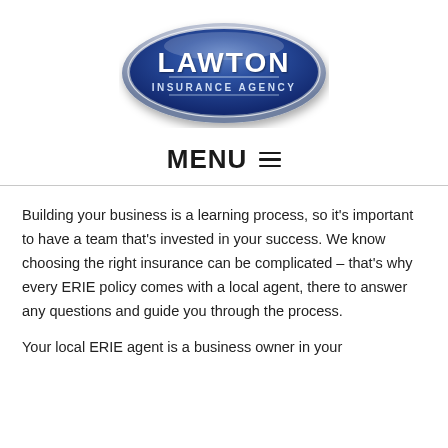[Figure (logo): Lawton Insurance Agency logo — dark blue oval with silver border, white text reading LAWTON in large letters and INSURANCE AGENCY in smaller letters below]
MENU ☰
Building your business is a learning process, so it's important to have a team that's invested in your success. We know choosing the right insurance can be complicated – that's why every ERIE policy comes with a local agent, there to answer any questions and guide you through the process.
Your local ERIE agent is a business owner in your